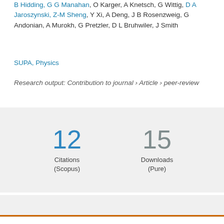B Hidding, G G Manahan, O Karger, A Knetsch, G Wittig, D A Jaroszynski, Z-M Sheng, Y Xi, A Deng, J B Rosenzweig, G Andonian, A Murokh, G Pretzler, D L Bruhwiler, J Smith
SUPA, Physics
Research output: Contribution to journal › Article › peer-review
12
Citations
(Scopus)
15
Downloads
(Pure)
[Figure (logo): Altmetric donut logo — colorful circles (orange, green, purple) arranged in a flower/donut shape]
We use cookies to analyse and improve our service. Cookie Policy